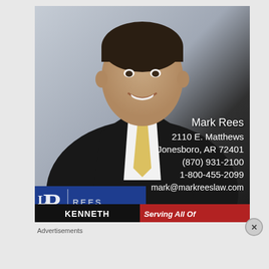[Figure (photo): Professional headshot of Mark Rees, attorney, wearing dark suit, white shirt, and gold tie, with contact information overlaid: Mark Rees, 2110 E. Matthews, Jonesboro, AR 72401, (870) 931-2100, 1-800-455-2099, mark@markreeslaw.com. Rees Law Firm logo in bottom left. Bottom banner shows 'KENNETH' and 'Serving All Of' in black and red.]
Advertisements